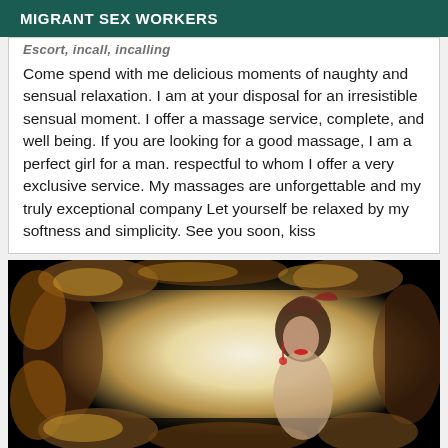MIGRANT SEX WORKERS
Come spend with me delicious moments of naughty and sensual relaxation. I am at your disposal for an irresistible sensual moment. I offer a massage service, complete, and well being. If you are looking for a good massage, I am a perfect girl for a man. respectful to whom I offer a very exclusive service. My massages are unforgettable and my truly exceptional company Let yourself be relaxed by my softness and simplicity. See you soon, kiss
[Figure (photo): Portrait photograph of a woman with styled hair and red accessories against a decorative aged/burned paper background with gold/brown tones on black.]